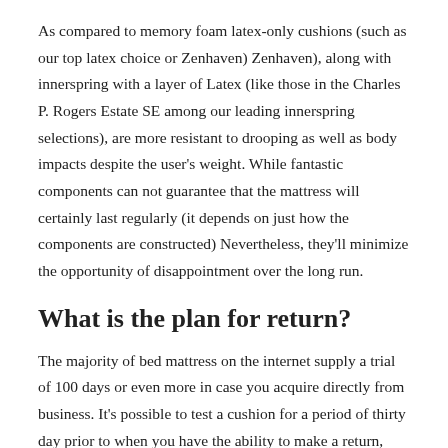As compared to memory foam latex-only cushions (such as our top latex choice or Zenhaven) Zenhaven), along with innerspring with a layer of Latex (like those in the Charles P. Rogers Estate SE among our leading innerspring selections), are more resistant to drooping as well as body impacts despite the user's weight. While fantastic components can not guarantee that the mattress will certainly last regularly (it depends on just how the components are constructed) Nevertheless, they'll minimize the opportunity of disappointment over the long run.
What is the plan for return?
The majority of bed mattress on the internet supply a trial of 100 days or even more in case you acquire directly from business. It's possible to test a cushion for a period of thirty day prior to when you have the ability to make a return, nonetheless. Third-party stores, like Amazon department stores, along with bed mattress shops might have their very own guidelines depending on whether